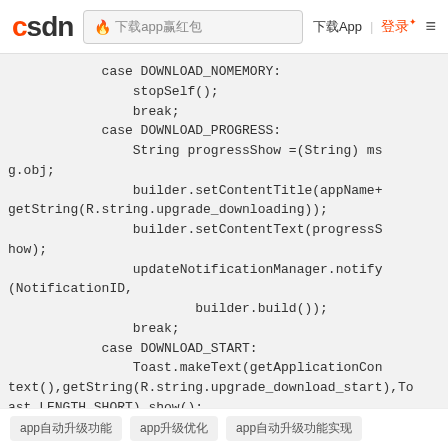CSDN | 🔥 下载app赢红包 | 下载App | 登录 ≡
case DOWNLOAD_NOMEMORY:
                stopSelf();
                break;
            case DOWNLOAD_PROGRESS:
                String progressShow =(String) msg.obj;
                builder.setContentTitle(appName+getString(R.string.upgrade_downloading));
                builder.setContentText(progressShow);
                updateNotificationManager.notify(NotificationID,
                        builder.build());
                break;
            case DOWNLOAD_START:
                Toast.makeText(getApplicationContext(),getString(R.string.upgrade_download_start),Toast.LENGTH_SHORT).show();
                break;
app自动升级功能  app升级优化  app自动升级功能实现